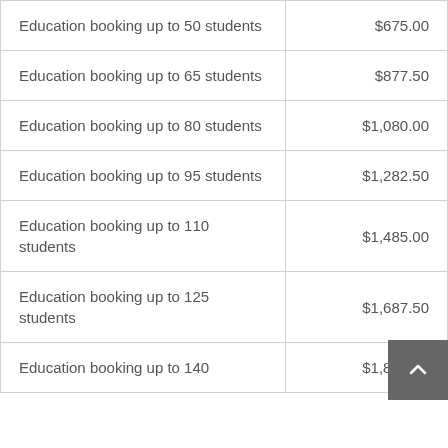|  |  |
| --- | --- |
| Education booking up to 50 students | $675.00 |
| Education booking up to 65 students | $877.50 |
| Education booking up to 80 students | $1,080.00 |
| Education booking up to 95 students | $1,282.50 |
| Education booking up to 110 students | $1,485.00 |
| Education booking up to 125 students | $1,687.50 |
| Education booking up to 140 | $1,890.00 |